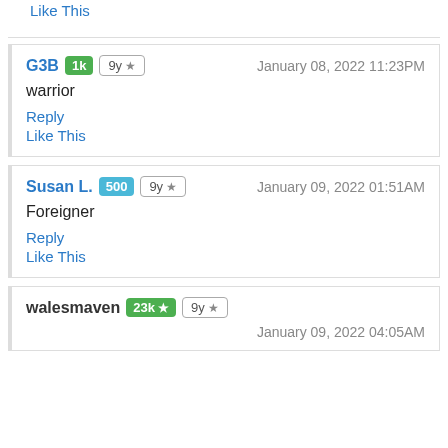Like This
G3B 1k 9y ★ January 08, 2022 11:23PM
warrior
Reply
Like This
Susan L. 500 9y ★ January 09, 2022 01:51AM
Foreigner
Reply
Like This
walesmaven 23k ★ 9y ★ January 09, 2022 04:05AM